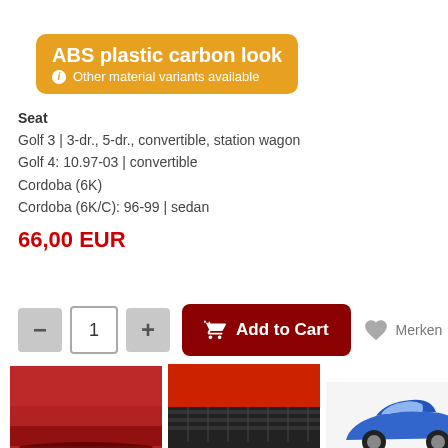ABS plastic carbon look
i Other material variants available
Seat
Golf 3 | 3-dr., 5-dr., convertible, station wagon
Golf 4: 10.97-03 | convertible
Cordoba (6K)
Cordoba (6K/C): 96-99 | sedan
66,00 EUR
[Figure (screenshot): Add to Cart button with quantity selector (minus, 1, plus) and Merken (save/wishlist) button with heart icon]
[Figure (photo): Three product thumbnail images: red side skirt, carbon-look side skirt close-up, blue VW Golf 3 with side skirts]